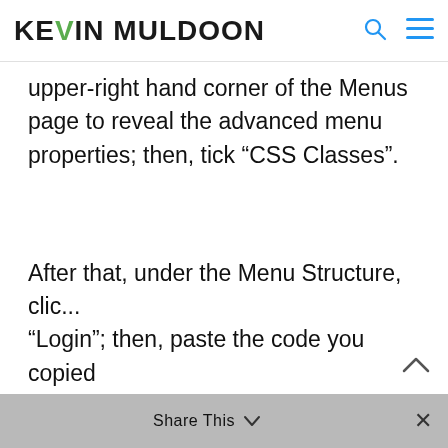Kevin Muldoon
upper-right hand corner of the Menus page to reveal the advanced menu properties; then, tick “CSS Classes”.
After that, under the Menu Structure, clic... “Login”; then, paste the code you copied
Share This